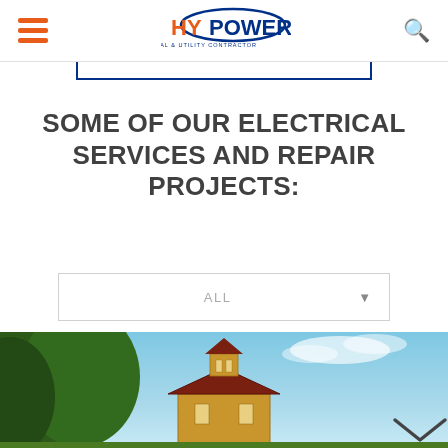HyPower Electrical & Utility Contractor — navigation header with hamburger menu and search icon
SOME OF OUR ELECTRICAL SERVICES AND REPAIR PROJECTS:
ALL
[Figure (photo): Photograph of a historic building with a cupola/clock tower, blue sky with clouds, and green trees on the left. A downward chevron (scroll arrow) is visible on the lower right.]